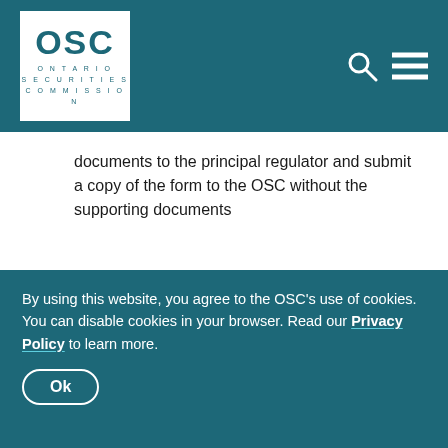OSC Ontario Securities Commission
documents to the principal regulator and submit a copy of the form to the OSC without the supporting documents
Once registered in any jurisdiction, firms can apply to register in additional provinces or territories. For more information, please refer to changing categories or jurisdictions.
A firm should also follow this process when...
By using this website, you agree to the OSC’s use of cookies. You can disable cookies in your browser. Read our Privacy Policy to learn more.